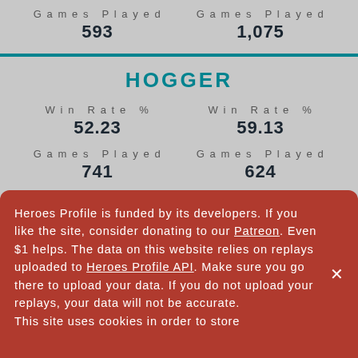Games Played 593 | Games Played 1,075
HOGGER
Win Rate % 52.23 | Win Rate % 59.13
Games Played 741 | Games Played 624
ILLIDAN
Win Rate % | Win Rate %
Heroes Profile is funded by its developers. If you like the site, consider donating to our Patreon. Even $1 helps. The data on this website relies on replays uploaded to Heroes Profile API. Make sure you go there to upload your data. If you do not upload your replays, your data will not be accurate. This site uses cookies in order to store